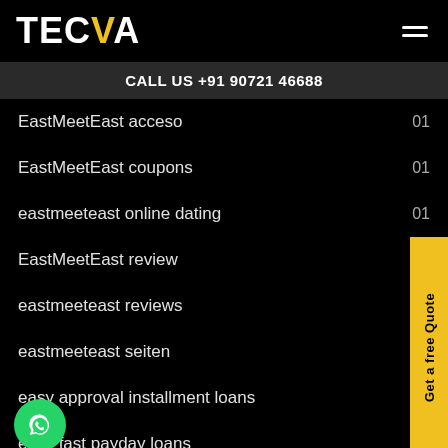TECVA
CALL US +91 90721 46688
EastMeetEast acceso  01
EastMeetEast coupons  01
eastmeeteast online dating  01
EastMeetEast review
eastmeeteast reviews
eastmeeteast seiten
easy approval installment loans
easy fast payday loans  01
easy installment loans  05
easy installment loans online  04